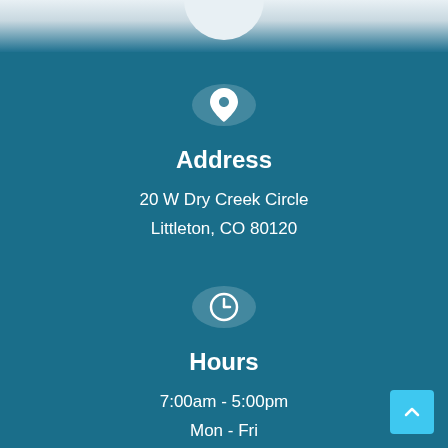[Figure (illustration): Location pin icon in a circular button on teal background]
Address
20 W Dry Creek Circle
Littleton, CO 80120
[Figure (illustration): Clock icon in a circular button on teal background]
Hours
7:00am - 5:00pm
Mon - Fri